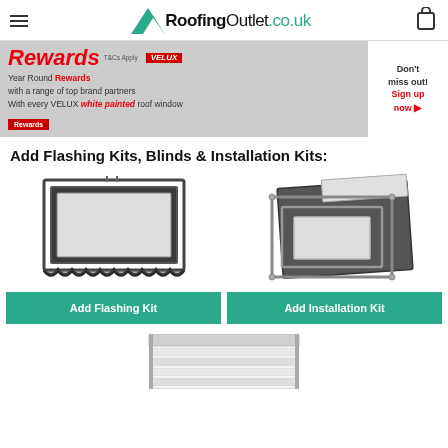RoofingOutlet.co.uk
[Figure (infographic): VELUX Rewards promotional banner: Year Round Rewards with a range of top brand partners. With every VELUX white painted roof window. Don't miss out! Sign up now.]
Add Flashing Kits, Blinds & Installation Kits:
[Figure (photo): VELUX flashing kit product image - dark grey metal frame with corrugated bottom edge]
[Figure (photo): VELUX installation kit product image - metal frame components with clear panels]
[Figure (photo): Partial view of another VELUX product at bottom of page]